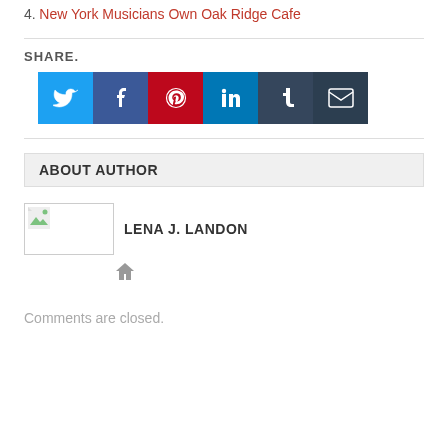4. New York Musicians Own Oak Ridge Cafe
SHARE.
[Figure (infographic): Social media share buttons: Twitter (blue), Facebook (dark blue), Pinterest (red), LinkedIn (teal), Tumblr (dark navy), Email (dark grey)]
ABOUT AUTHOR
[Figure (photo): Author photo placeholder with broken image icon for Lena J. Landon]
LENA J. LANDON
Home icon (house)
Comments are closed.